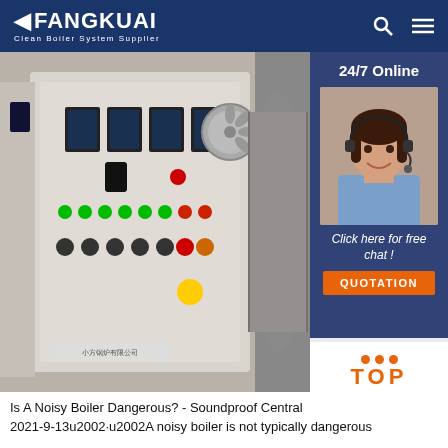FANGKUAI Clean Boiler System Supplier
[Figure (photo): Photo of an industrial boiler electrical control panel with gauges, buttons, and switches. On the right side: a sidebar with '24/7 Online', a customer service agent photo, 'Click here for free chat!', and a QUOTATION button. A 'TOP' label with orange dots appears at bottom right.]
Is A Noisy Boiler Dangerous? - Soundproof Central 2021-9-13u2002·u2002A noisy boiler is not typically dangerous